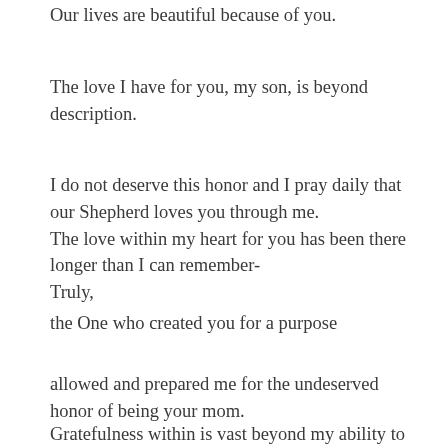Our lives are beautiful because of you.
The love I have for you, my son, is beyond description.
I do not deserve this honor and I pray daily that our Shepherd loves you through me.
The love within my heart for you has been there longer than I can remember-
Truly,
the One who created you for a purpose
allowed and prepared me for the undeserved honor of being your mom.
Gratefulness within is vast beyond my ability to